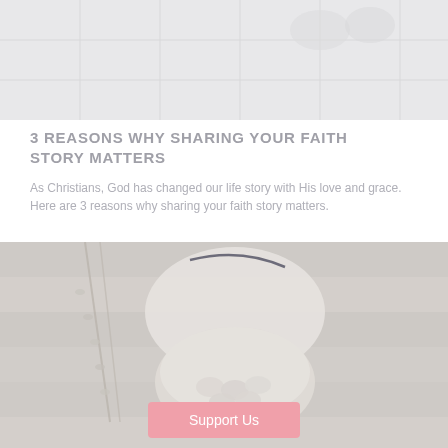[Figure (photo): Blurred/faded photo showing legs/feet on a tiled surface, light grey tones]
3 REASONS WHY SHARING YOUR FAITH STORY MATTERS
As Christians, God has changed our life story with His love and grace. Here are 3 reasons why sharing your faith story matters.
[Figure (photo): Faded photo of a white bowl containing small speckled eggs, with willow branches beside it on a wooden surface, with a pink Support Us button overlay]
Support Us